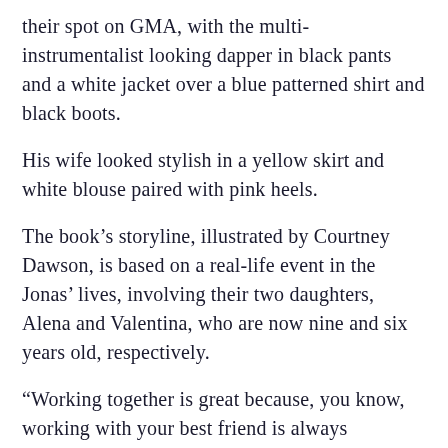their spot on GMA, with the multi-instrumentalist looking dapper in black pants and a white jacket over a blue patterned shirt and black boots.
His wife looked stylish in a yellow skirt and white blouse paired with pink heels.
The book's storyline, illustrated by Courtney Dawson, is based on a real-life event in the Jonas' lives, involving their two daughters, Alena and Valentina, who are now nine and six years old, respectively.
“Working together is great because, you know, working with your best friend is always wonderful,” Kevin told the GMA hosts.